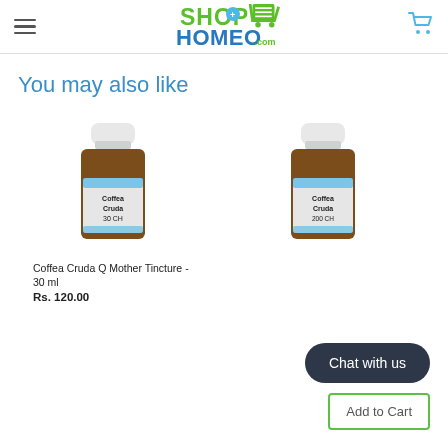[Figure (logo): ShopHomeo.com logo with green shopping cart icon and blue text]
You may also like
[Figure (photo): Homeopathy medicine bottle - Coffea Cruda 30 CH small brown glass bottle with white cap and label]
[Figure (photo): Homeopathy medicine bottle - Coffea Cruda 200 CH small brown glass bottle with white cap and label]
Coffea Cruda Q Mother Tincture - 30 ml
Rs. 120.00
Chat with us
Add to Cart